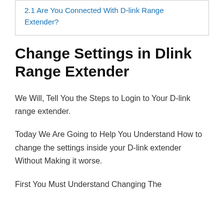| 2.1 Are You Connected With D-link Range Extender? |
Change Settings in Dlink Range Extender
We Will, Tell You the Steps to Login to Your D-link range extender.
Today We Are Going to Help You Understand How to change the settings inside your D-link extender Without Making it worse.
First You Must Understand Changing The